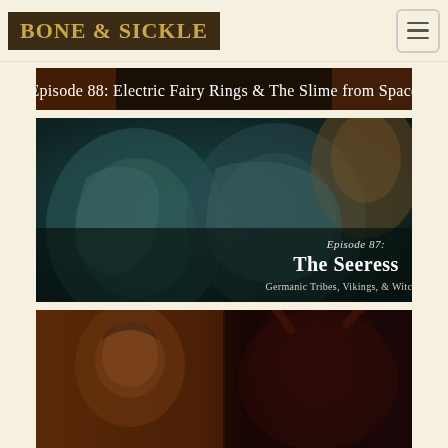[Figure (logo): Bone & Sickle logo: dark brown background with golden serif text reading BONE & SICKLE]
[Figure (illustration): Navigation hamburger menu button, three horizontal lines icon in a rounded square]
[Figure (illustration): Episode 88 banner: dark background with text 'Episode 88: Electric Fairy Rings & The Slime from Space']
[Figure (illustration): Episode 87 artwork: large stone face sculptures in teal/blue tones with a woman in a wreath crown in upper right. Text reads 'Episode 87: The Seeress, Germanic Tribes, Vikings, & Witches']
[Figure (illustration): Partial Episode 86 artwork: portrait of a man on left half, demonic horned figure on right, dark atmospheric painting style]